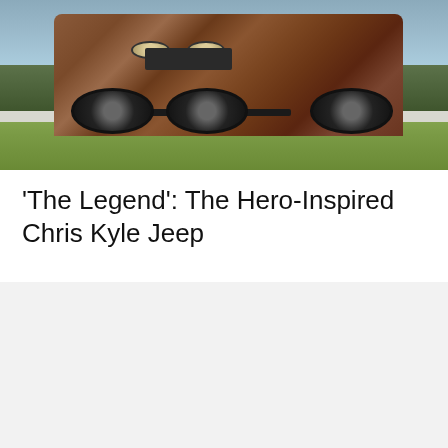[Figure (photo): A heavily modified Jeep Wrangler with a rusty, distressed body wrap/paint, large off-road tires, lifted suspension, exposed front frame, round headlights, and metal grille. The vehicle is parked outdoors on grass with a white barrier/curb behind it and an overcast sky in the background.]
‘The Legend’: The Hero-Inspired Chris Kyle Jeep